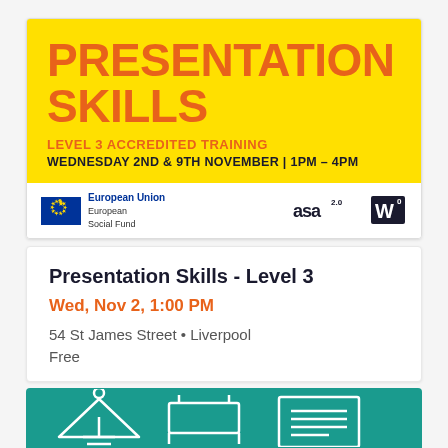[Figure (infographic): Yellow promotional banner for Presentation Skills Level 3 Accredited Training showing orange bold text on yellow background with EU Social Fund logo and ASA/W logos]
Presentation Skills - Level 3
Wed, Nov 2, 1:00 PM
54 St James Street • Liverpool
Free
[Figure (illustration): Teal/green banner with white line-art icons of a podium, table, and document at the bottom of the page]